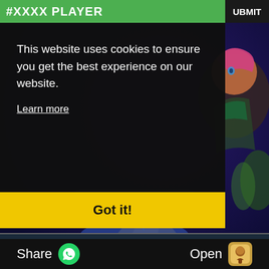#XXXX PLAYER
This website uses cookies to ensure you get the best experience on our website.
Learn more
Got it!
Trophies: 2793
Xp: 167
|  | Description | Progress | Stars |
| --- | --- | --- | --- |
| High Gear | Gear Up 3 buildings using the Master Builder | 3/ 3
100% | ★★★ |
| Hidden... | Rebuild Part... | 1/ 1 |  |
Share   Open